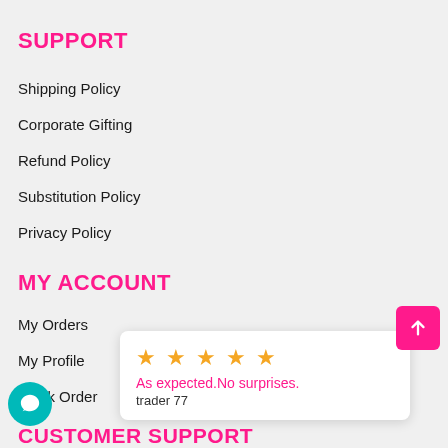SUPPORT
Shipping Policy
Corporate Gifting
Refund Policy
Substitution Policy
Privacy Policy
MY ACCOUNT
My Orders
My Profile
Track Order
★★★★★
As expected.No surprises.
trader 77
CUSTOMER SUPPORT